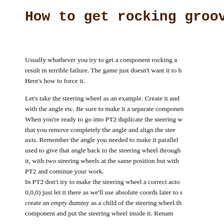How to get rocking grooves and s…
Usually whathever you try to get a component rocking a… result in terrible failure. The game just doesn't want it to h… Here's how to force it.
Let's take the steering wheel as an example. Create it and… with the angle etc. Be sure to make it a separate componen… When you're ready to go into PT2 duplicate the steering w… that you remove completely the angle and align the stee… axis. Remember the angle you needed to make it parallel… used to give that angle back to the steering wheel through… it, with two steering wheels at the same position but with… PT2 and continue your work. In PT2 don't try to make the steering wheel a correct acto… 0,0,0) just let it there as we'll use absolute coords later to s… create an empty dummy as a child of the steering wheel th… component and put the steering wheel inside it. Renam…